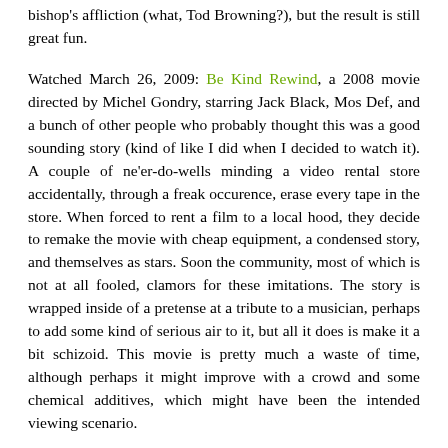bishop's affliction (what, Tod Browning?), but the result is still great fun.
Watched March 26, 2009: Be Kind Rewind, a 2008 movie directed by Michel Gondry, starring Jack Black, Mos Def, and a bunch of other people who probably thought this was a good sounding story (kind of like I did when I decided to watch it). A couple of ne'er-do-wells minding a video rental store accidentally, through a freak occurence, erase every tape in the store. When forced to rent a film to a local hood, they decide to remake the movie with cheap equipment, a condensed story, and themselves as stars. Soon the community, most of which is not at all fooled, clamors for these imitations. The story is wrapped inside of a pretense at a tribute to a musician, perhaps to add some kind of serious air to it, but all it does is make it a bit schizoid. This movie is pretty much a waste of time, although perhaps it might improve with a crowd and some chemical additives, which might have been the intended viewing scenario.
Viewed March 31, 2009: Lemony Snicket's A Series of Unfortunate Events from 2004, directed by Brad Silberling, starring Jim Carrey and a full cast of well-known actors who